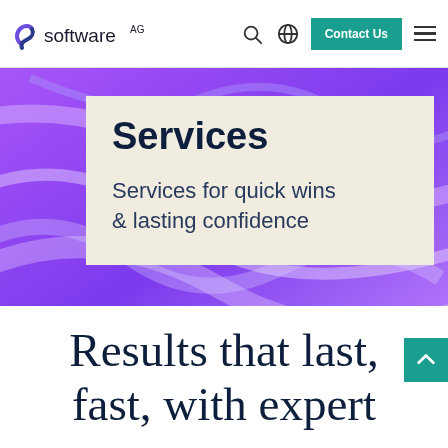[Figure (logo): Software AG logo with stylized S icon and 'software AG' wordmark]
Services
Services for quick wins & lasting confidence
Results that last, fast, with expert